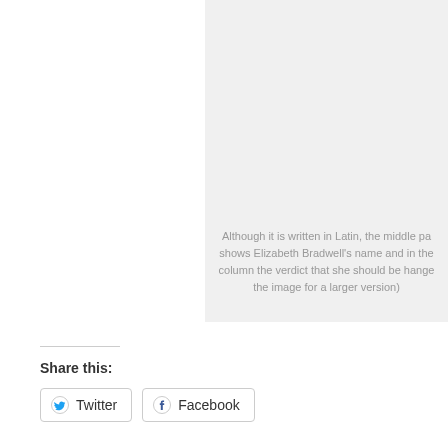[Figure (other): Gray background panel occupying the top-right portion of the page, partially visible]
Although it is written in Latin, the middle pa shows Elizabeth Bradwell's name and in the column the verdict that she should be hange the image for a larger version)
Share this:
Twitter  Facebook